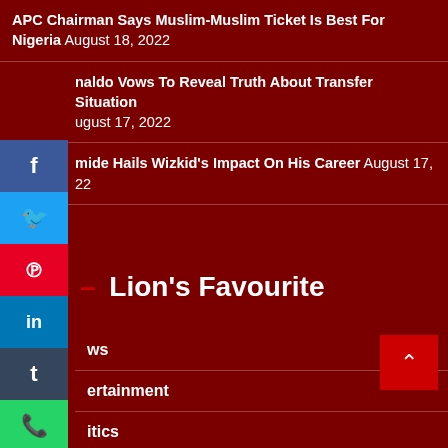APC Chairman Says Muslim-Muslim Ticket Is Best For Nigeria August 18, 2022
Ronaldo Vows To Reveal Truth About Transfer Situation August 17, 2022
Damide Hails Wizkid's Impact On His Career August 17, 2022
Lion's Favourite
News
Entertainment
Politics
Sports
Education